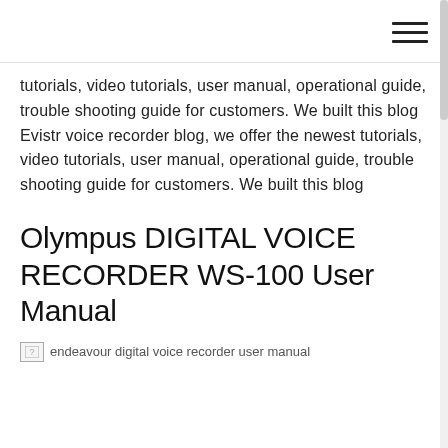tutorials, video tutorials, user manual, operational guide, trouble shooting guide for customers. We built this blog Evistr voice recorder blog, we offer the newest tutorials, video tutorials, user manual, operational guide, trouble shooting guide for customers. We built this blog
Olympus DIGITAL VOICE RECORDER WS-100 User Manual
[Figure (photo): Broken image placeholder with alt text: endeavour digital voice recorder user manual]